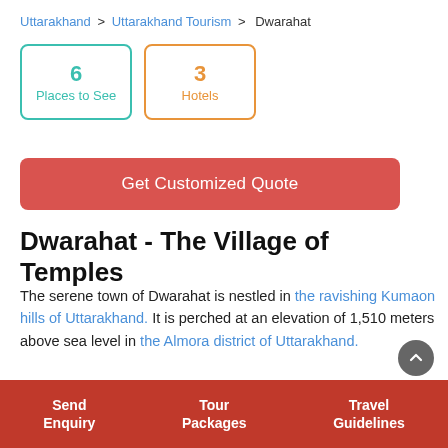Uttarakhand > Uttarakhand Tourism > Dwarahat
6 Places to See
3 Hotels
Get Customized Quote
Dwarahat - The Village of Temples
The serene town of Dwarahat is nestled in the ravishing Kumaon hills of Uttarakhand. It is perched at an elevation of 1,510 meters above sea level in the Almora district of Uttarakhand.
Dwarahat literally suggests the 'Way to Heaven' in the local language. It is famous for temples built by the Katyuri kings, the art of which is similar to that of the Gurjari School of Art.
Send Enquiry | Tour Packages | Travel Guidelines